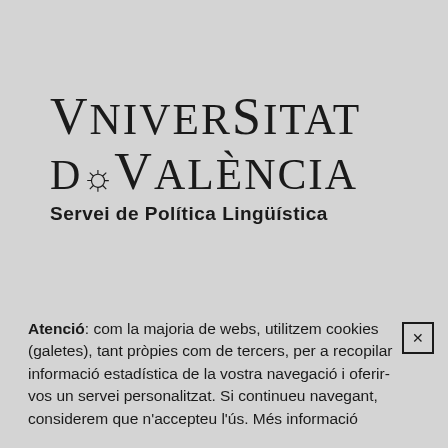[Figure (logo): Universitat de València logo with stylized text 'VNIVERSITAT DE VALÈNCIA' and subtitle 'Servei de Política Lingüística']
Atenció: com la majoria de webs, utilitzem cookies (galetes), tant pròpies com de tercers, per a recopilar informació estadística de la vostra navegació i oferir-vos un servei personalitzat. Si continueu navegant, considerem que n'accepteu l'ús. Més informació